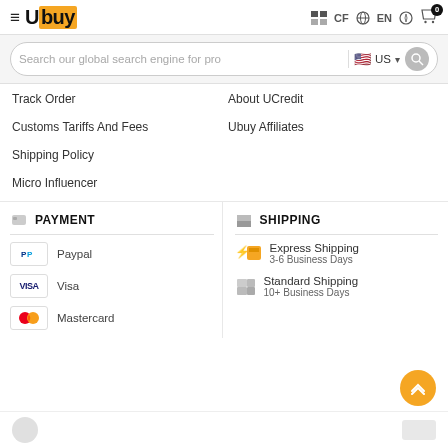Ubuy — CF  EN  [user] [cart 0]
Search our global search engine for pro  US
Track Order
About UCredit
Customs Tariffs And Fees
Ubuy Affiliates
Shipping Policy
Micro Influencer
PAYMENT
SHIPPING
Paypal
Express Shipping — 3-6 Business Days
Visa
Standard Shipping — 10+ Business Days
Mastercard